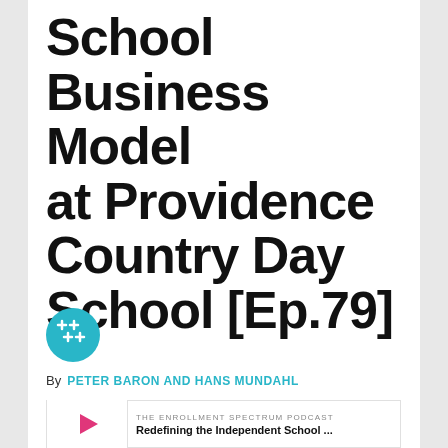School Business Model at Providence Country Day School [Ep.79]
[Figure (logo): Teal circular logo with a plus/cross symbol made of four plus signs arranged in a grid]
By  PETER BARON AND HANS MUNDAHL
[Figure (screenshot): Podcast player widget. Label: THE ENROLLMENT SPECTRUM PODCAST. Title: Redefining the Independent School ... Play button (pink/magenta triangle) on left side.]